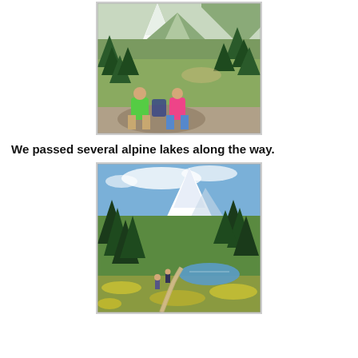[Figure (photo): Two women sitting on a rock looking out over a mountain meadow with evergreen trees and a snow-capped mountain (Mt. Rainier) in the background. One woman wears a green shirt, the other wears a pink shirt.]
We passed several alpine lakes along the way.
[Figure (photo): A hiking trail through an alpine meadow with yellow wildflowers, a small lake or pond reflecting the surroundings, tall evergreen trees, and a snow-capped mountain (Mt. Rainier) visible in the background under a blue sky with clouds. Two small figures of hikers are visible on the trail.]